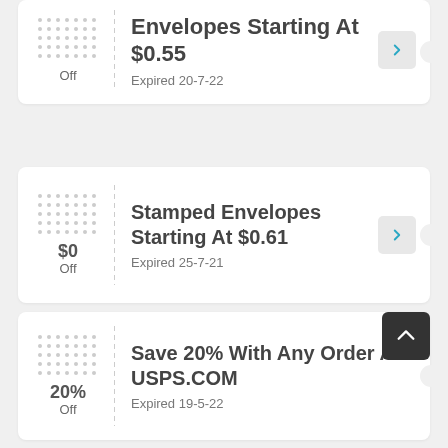Envelopes Starting At $0.55 — $0 Off — Expired 20-7-22
Stamped Envelopes Starting At $0.61 — $0 Off — Expired 25-7-21
Save 20% With Any Order At USPS.COM — 20% Off — Expired 19-5-22